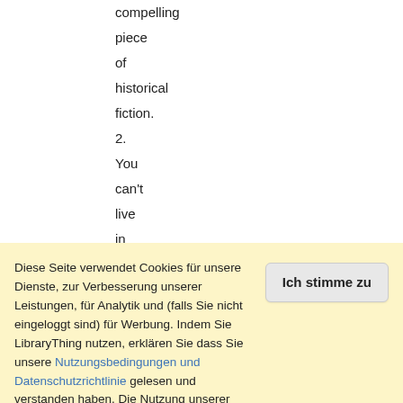compelling piece of historical fiction. 2. You can't live in America ... (mehr) sturlington (19): Should
Diese Seite verwendet Cookies für unsere Dienste, zur Verbesserung unserer Leistungen, für Analytik und (falls Sie nicht eingeloggt sind) für Werbung. Indem Sie LibraryThing nutzen, erklären Sie dass Sie unsere Nutzungsbedingungen und Datenschutzrichtlinie gelesen und verstanden haben. Die Nutzung unserer Webseite und Dienste unterliegt diesen Richtlinien und Geschäftsbedingungen.
Ich stimme zu